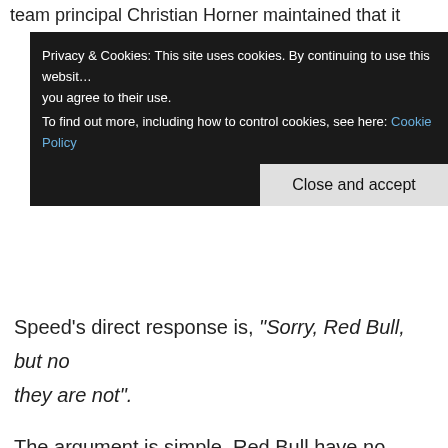team principal Christian Horner maintained that it w... n...
Privacy & Cookies: This site uses cookies. By continuing to use this website you agree to their use. To find out more, including how to control cookies, see here: Cookie Policy
Close and accept
Speed's direct response is, "Sorry, Red Bull, but no they are not".
The argument is simple. Red Bull have no realistic chance of winning the constructors' title, being 174 points behind Mercedes with just 215 on offer by the end of the season. There is a greater possibility that